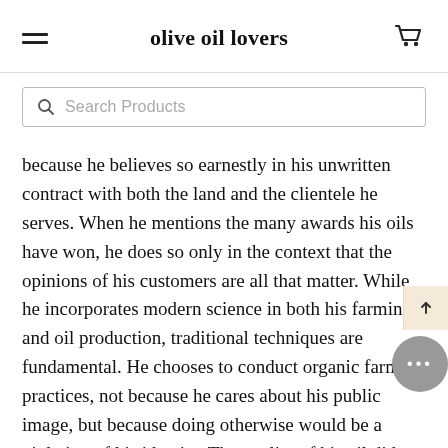olive oil lovers
[Figure (screenshot): Search bar with placeholder text 'Search Products']
because he believes so earnestly in his unwritten contract with both the land and the clientele he serves. When he mentions the many awards his oils have won, he does so only in the context that the opinions of his customers are all that matter. While he incorporates modern science in both his farming and oil production, traditional techniques are fundamental. He chooses to conduct organic farming practices, not because he cares about his public image, but because doing otherwise would be a violation of his identity. The quality of his oil did not arrive by chance, it is the result of the indigenous trees